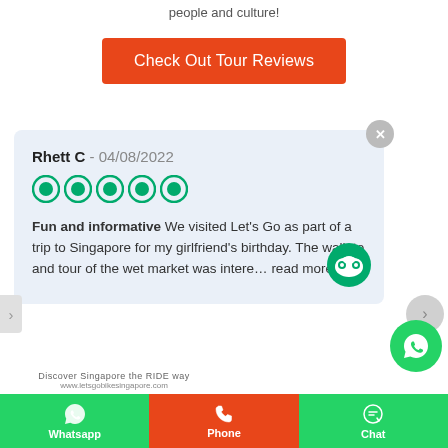people and culture!
[Figure (other): Orange CTA button reading 'Check Out Tour Reviews']
Rhett C - 04/08/2022 [5 green circles/stars] Fun and informative We visited Let's Go as part of a trip to Singapore for my girlfriend's birthday. The walk to and tour of the wet market was intere... read more
[Figure (logo): Discover Singapore the RIDE way logo with TripAdvisor owl icon badge]
[Figure (infographic): Bottom navigation bar with Whatsapp, Phone, and Chat buttons]